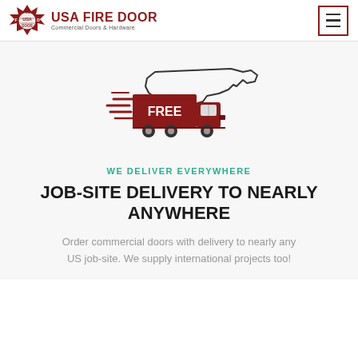USA FIRE DOOR Commercial Doors & Hardware
[Figure (illustration): A dark red delivery truck with 'FREE' text on the trailer, moving speed lines to the left, overlaid on an outline map of the contiguous United States]
WE DELIVER EVERYWHERE
JOB-SITE DELIVERY TO NEARLY ANYWHERE
Order commercial doors with delivery to nearly any US job-site. We supply international projects too!